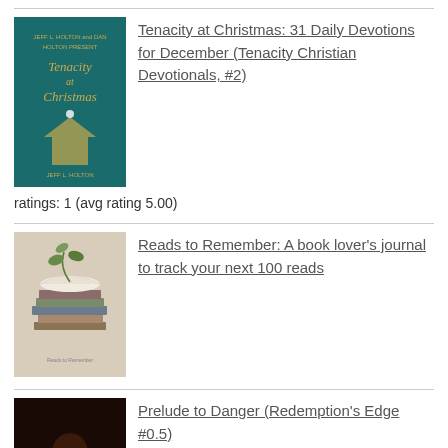[Figure (illustration): Book cover: Tenacity at Christmas, teal/green background with nativity scene illustration]
Tenacity at Christmas: 31 Daily Devotions for December (Tenacity Christian Devotionals, #2)
ratings: 1 (avg rating 5.00)
[Figure (illustration): Book cover: Reads to Remember, stack of books on beige background]
Reads to Remember: A book lover's journal to track your next 100 reads
[Figure (illustration): Book cover: Prelude to Danger (Redemption's Edge #0.5), dark dramatic cover]
Prelude to Danger (Redemption's Edge #0.5)
[Figure (illustration): Book cover: A Second Cup of Hot Apple Cider, orange/yellow background]
A Second Cup of Hot Apple Cider: Words to Stimulate the Mind and Delight the Spirit